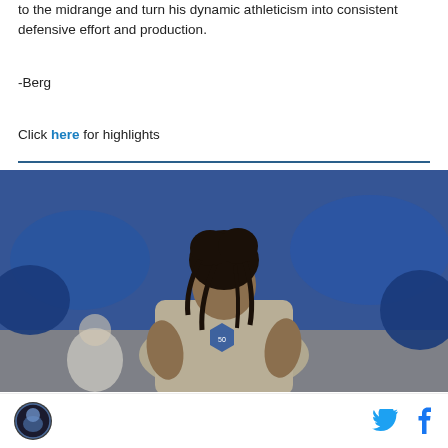to the midrange and turn his dynamic athleticism into consistent defensive effort and production.
-Berg
Click here for highlights
[Figure (photo): A basketball player wearing a gray warm-up shirt with a team logo, standing on a court with blue-clad audience in the background.]
Minnesota Timberwolves logo, Twitter icon, Facebook icon